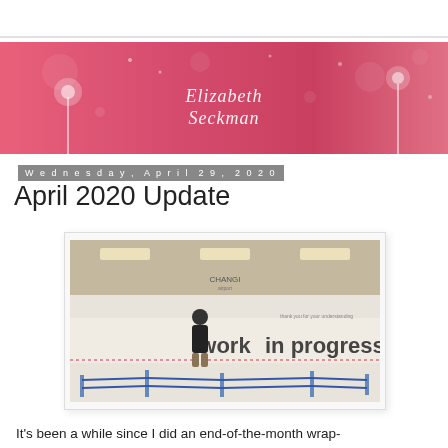[Figure (illustration): Pink banner with dandelion motif and script text reading 'Elizabeth Seckman' in white cursive]
Wednesday, April 29, 2020
April 2020 Update
[Figure (photo): Photo of a person standing in front of a 'work in progress' sign in what appears to be an airport or public building with blue queue barriers]
It's been a while since I did an end-of-the-month wrap-